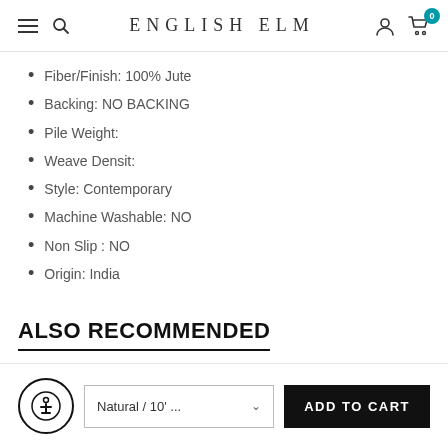ENGLISH ELM
Fiber/Finish: 100% Jute
Backing: NO BACKING
Pile Weight:
Weave Densit:
Style: Contemporary
Machine Washable: NO
Non Slip : NO
Origin: India
ALSO RECOMMENDED